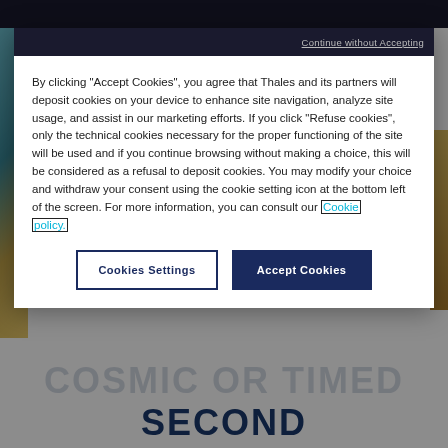[Figure (screenshot): Background webpage screenshot showing a dark top navigation bar, partially visible page content with an image on the left edge, and large bold text 'COSMIC OR TIMED SECOND' at the bottom, partially obscured by a cookie consent modal overlay.]
Continue without Accepting
By clicking "Accept Cookies", you agree that Thales and its partners will deposit cookies on your device to enhance site navigation, analyze site usage, and assist in our marketing efforts. If you click "Refuse cookies", only the technical cookies necessary for the proper functioning of the site will be used and if you continue browsing without making a choice, this will be considered as a refusal to deposit cookies. You may modify your choice and withdraw your consent using the cookie setting icon at the bottom left of the screen. For more information, you can consult our Cookie policy.
Cookies Settings
Accept Cookies